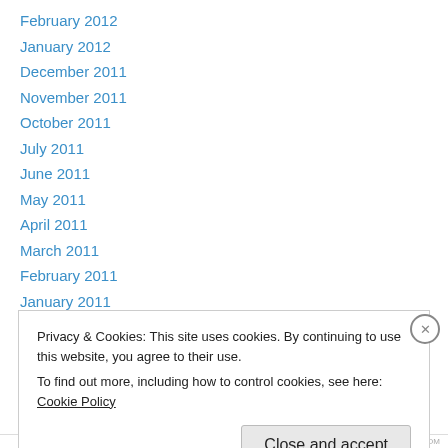February 2012
January 2012
December 2011
November 2011
October 2011
July 2011
June 2011
May 2011
April 2011
March 2011
February 2011
January 2011
December 2010
Privacy & Cookies: This site uses cookies. By continuing to use this website, you agree to their use. To find out more, including how to control cookies, see here: Cookie Policy